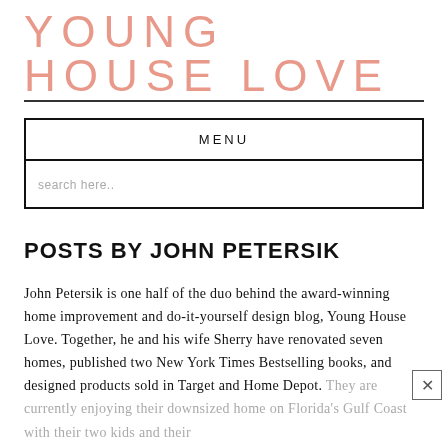YOUNG HOUSE LOVE
MENU
search here..
POSTS BY JOHN PETERSIK
John Petersik is one half of the duo behind the award-winning home improvement and do-it-yourself design blog, Young House Love. Together, he and his wife Sherry have renovated seven homes, published two New York Times Bestselling books, and designed products sold in Target and Home Depot. They are currently enjoying their downsized home on Florida's Gulf Coast with their two kids and their